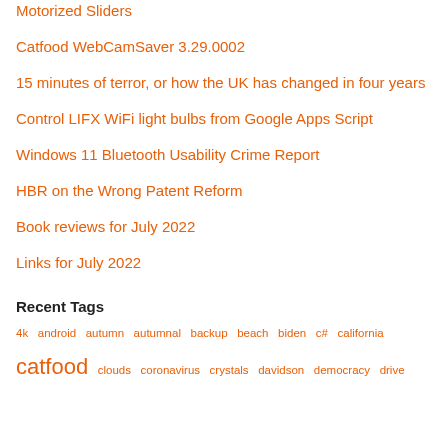Motorized Sliders
Catfood WebCamSaver 3.29.0002
15 minutes of terror, or how the UK has changed in four years
Control LIFX WiFi light bulbs from Google Apps Script
Windows 11 Bluetooth Usability Crime Report
HBR on the Wrong Patent Reform
Book reviews for July 2022
Links for July 2022
Recent Tags
4k  android  autumn  autumnal  backup  beach  biden  c#  california
catfood  clouds  coronavirus  crystals  davidson  democracy  drive